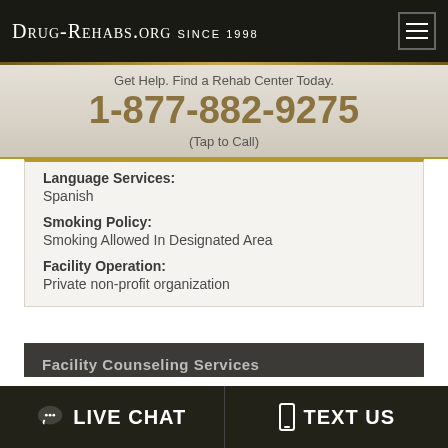Drug-Rehabs.org Since 1998
Get Help. Find a Rehab Center Today.
1-877-882-9275
(Tap to Call)
Language Services:
Spanish
Smoking Policy:
Smoking Allowed In Designated Area
Facility Operation:
Private non-profit organization
LIVE CHAT  TEXT US